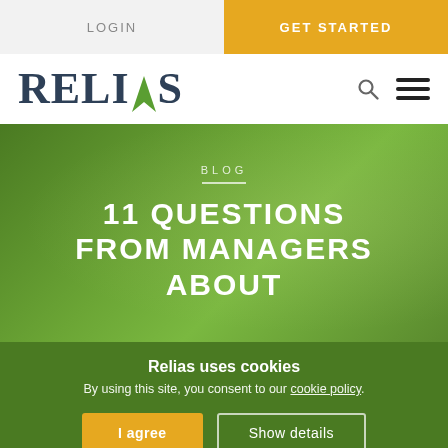LOGIN | GET STARTED
[Figure (logo): Relias logo with green arrow accent and navigation icons (search, hamburger menu)]
BLOG
11 QUESTIONS FROM MANAGERS ABOUT
Relias uses cookies
By using this site, you consent to our cookie policy.
I agree | Show details